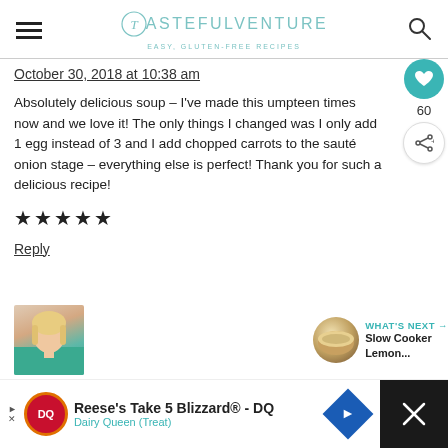TASTEFULVENTURE — EASY, GLUTEN-FREE RECIPES
October 30, 2018 at 10:38 am
Absolutely delicious soup – I've made this umpteen times now and we love it! The only things I changed was I only add 1 egg instead of 3 and I add chopped carrots to the sauté onion stage – everything else is perfect! Thank you for such a delicious recipe!
★★★★★
Reply
[Figure (photo): Avatar photo of a blonde woman in a green top]
Reese's Take 5 Blizzard® - DQ | Dairy Queen (Treat) — Advertisement